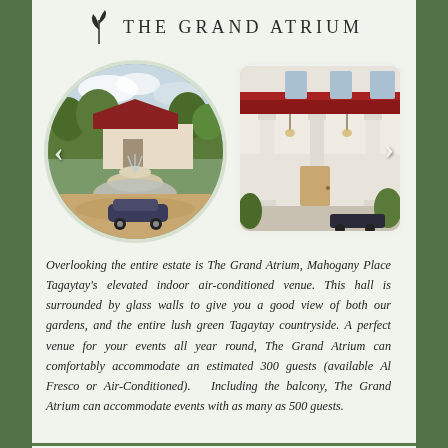THE GRAND ATRIUM
[Figure (photo): Two photos of The Grand Atrium venue: left shows a circular/oval-cropped image of the estate exterior with a fountain and classic car; right shows a rectangular photo of the building entrance with white columns and a portico.]
Overlooking the entire estate is The Grand Atrium, Mahogany Place Tagaytay's elevated indoor air-conditioned venue. This hall is surrounded by glass walls to give you a good view of both our gardens, and the entire lush green Tagaytay countryside. A perfect venue for your events all year round, The Grand Atrium can comfortably accommodate an estimated 300 guests (available Al Fresco or Air-Conditioned). Including the balcony, The Grand Atrium can accommodate events with as many as 500 guests.